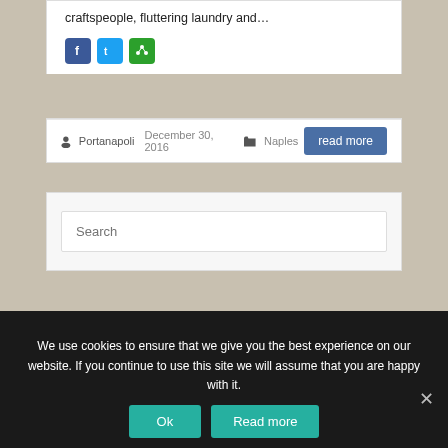craftspeople, fluttering laundry and…
[Figure (screenshot): Social share icons: Facebook (blue), Twitter (light blue), Share (green)]
Portanapoli  December 30, 2016  Naples  read more
Search
Search hotels and more...
We use cookies to ensure that we give you the best experience on our website. If you continue to use this site we will assume that you are happy with it.
Ok   Read more